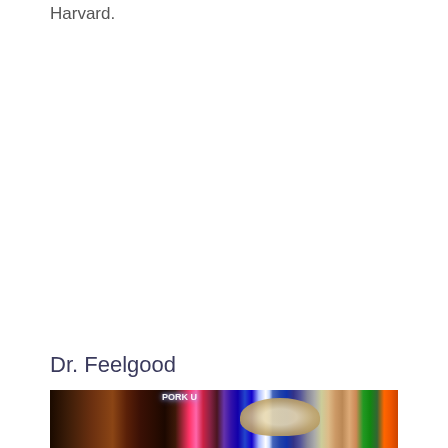Harvard.
Dr. Feelgood
[Figure (photo): Indoor bar or venue scene with neon signs including 'PORK U' text, posters on walls, a person wearing a white cap with 'BBQS' logo, microphone stand, and orange signage at right edge.]